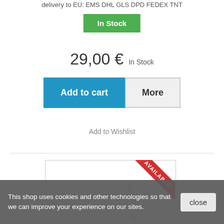delivery to EU: EMS DHL GLS DPD FEDEX TNT
In Stock
29,00 € In Stock
Add to cart
More
Add to Wishlist
[Figure (photo): Product image placeholder with AVAILABLE! ribbon badge in top-right corner]
This shop uses cookies and other technologies so that we can improve your experience on our sites.
close